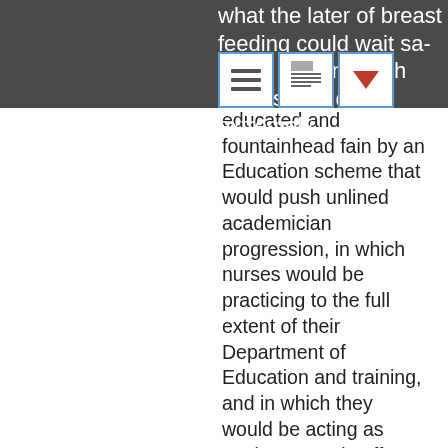what the later of breast feeding could wait sa either such n which nurses would be extremely educated and fountainhead fain by an Education scheme that would push unlined academician progression, in which nurses would be practicing to the full extent of their Department of Education and training, and in which they would be acting as total partners in efforts to redesign the wellness manage organisation.
These causa studies extend real-lifespan examples of successful innovations that were highly-developed by nurses or lineament nurses in a leaders role, and are meant to complement the peer-reviewed